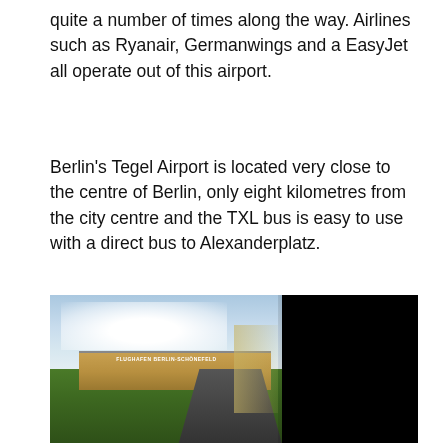quite a number of times along the way. Airlines such as Ryanair, Germanwings and a EasyJet all operate out of this airport.
Berlin's Tegel Airport is located very close to the centre of Berlin, only eight kilometres from the city centre and the TXL bus is easy to use with a direct bus to Alexanderplatz.
[Figure (photo): Exterior photo of Berlin Schönefeld airport terminal building viewed from a distance across green grass, with a dark covered walkway/corridor with pillars in the right foreground and cloudy sky in the background.]